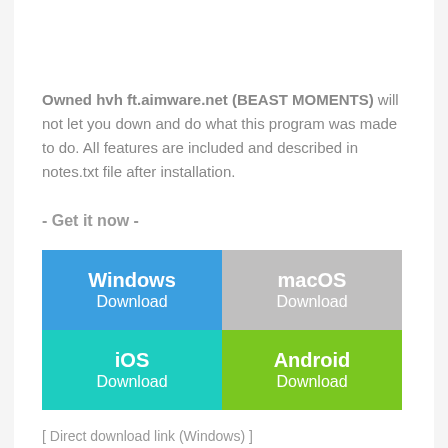Owned hvh ft.aimware.net (BEAST MOMENTS) will not let you down and do what this program was made to do. All features are included and described in notes.txt file after installation.
- Get it now -
[Figure (infographic): 2x2 grid of download buttons: Windows Download (blue), macOS Download (gray), iOS Download (teal), Android Download (green)]
[ Direct download link (Windows) ]